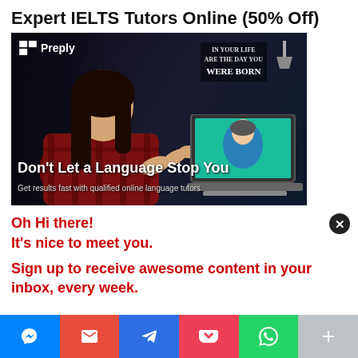Expert IELTS Tutors Online (50% Off)
[Figure (photo): Preply advertisement image showing a young woman in a plaid shirt sitting at a desk with a laptop displaying a video call with a tutor. White Preply logo in top-left. Text overlay reads 'Don't Let a Language Stop You' and 'Get results fast with qualified online language tutors.' Dark moody background with bookshelves and a neon sign.]
Oh Hi there!
It's nice to meet you.
Sign up to receive awesome content in your inbox, every week.
[Figure (infographic): Share bar with 6 buttons: Messenger (blue), Gmail (red), Telegram (blue), Pocket (pink-red), WhatsApp (green), More/Plus (gray)]